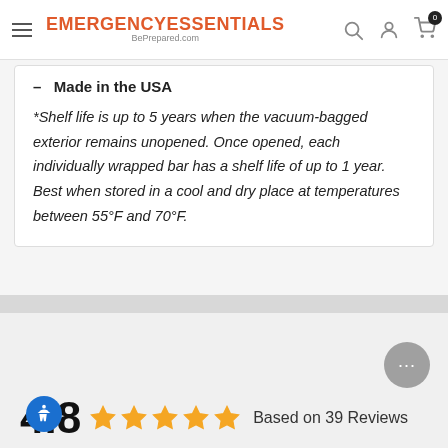EMERGENCY ESSENTIALS BePrepared.com
Made in the USA
*Shelf life is up to 5 years when the vacuum-bagged exterior remains unopened. Once opened, each individually wrapped bar has a shelf life of up to 1 year. Best when stored in a cool and dry place at temperatures between 55°F and 70°F.
4.8   Based on 39 Reviews